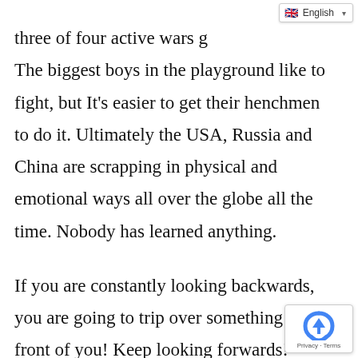English
three of four active wars g…

The biggest boys in the playground like to fight, but It's easier to get their henchmen to do it. Ultimately the USA, Russia and China are scrapping in physical and emotional ways all over the globe all the time. Nobody has learned anything.
If you are constantly looking backwards, you are going to trip over something in front of you! Keep looking forwards!